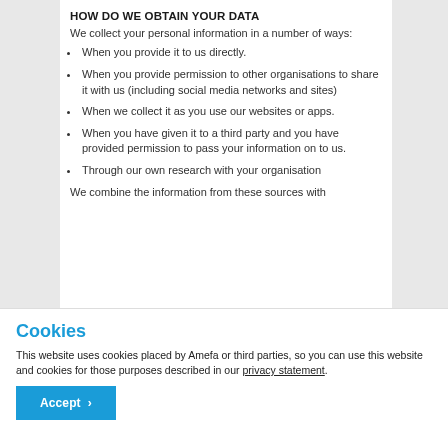HOW DO WE OBTAIN YOUR DATA
We collect your personal information in a number of ways:
When you provide it to us directly.
When you provide permission to other organisations to share it with us (including social media networks and sites)
When we collect it as you use our websites or apps.
When you have given it to a third party and you have provided permission to pass your information on to us.
Through our own research with your organisation
We combine the information from these sources with
Cookies
This website uses cookies placed by Amefa or third parties, so you can use this website and cookies for those purposes described in our privacy statement.